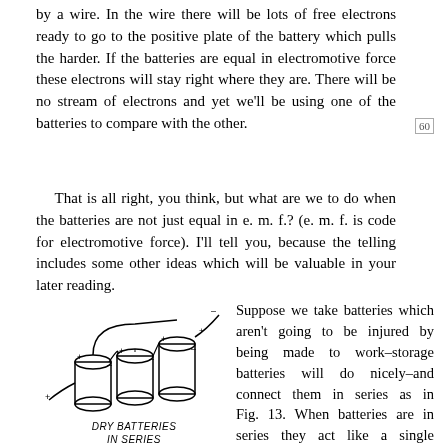by a wire. In the wire there will be lots of free electrons ready to go to the positive plate of the battery which pulls the harder. If the batteries are equal in electromotive force these electrons will stay right where they are. There will be no stream of electrons and yet we'll be using one of the batteries to compare with the other.
That is all right, you think, but what are we to do when the batteries are not just equal in e. m. f.? (e. m. f. is code for electromotive force). I'll tell you, because the telling includes some other ideas which will be valuable in your later reading.
[Figure (illustration): Two dry cell batteries connected in series with wires, labeled 'DRY BATTERIES IN SERIES'. Below that, a storage battery connected in series, labeled 'STORAGE BATTERIES IN SERIES FIG 13'.]
Suppose we take batteries which aren't going to be injured by being made to work–storage batteries will do nicely–and connect them in series as in Fig. 13. When batteries are in series they act like a single stronger battery, one whose e. m. f. is the sum of the e. m. f.'s of the separate batteries. Connect these batteries to a long fine wire as in Fig. 14. There is a stream of